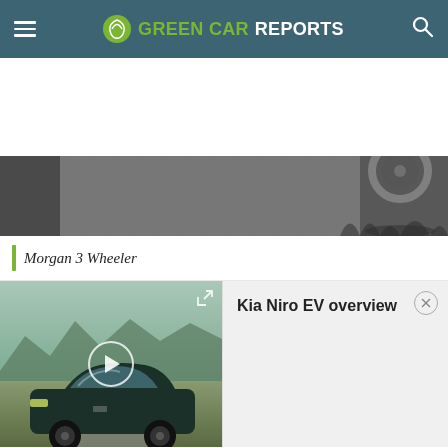GREEN CAR REPORTS
[Figure (photo): Close-up photo strip of a car wheel/tire on pavement — Morgan 3 Wheeler]
Morgan 3 Wheeler
[Figure (screenshot): Video thumbnail showing a dark green Kia Niro EV driving on a desert road with mountains in background, with play button overlay]
Kia Niro EV overview